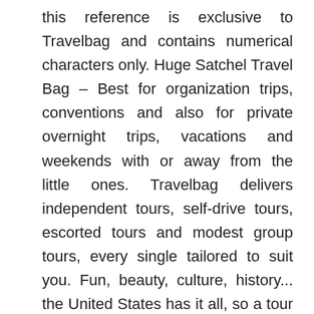this reference is exclusive to Travelbag and contains numerical characters only. Huge Satchel Travel Bag – Best for organization trips, conventions and also for private overnight trips, vacations and weekends with or away from the little ones. Travelbag delivers independent tours, self-drive tours, escorted tours and modest group tours, every single tailored to suit you. Fun, beauty, culture, history... the United States has it all, so a tour of 'America' with Travelbag is a perfect way see far more than you ever thought possible. I had them shrink both to 18″ x 8″ x 12″ for travel to Australia at no added charge.